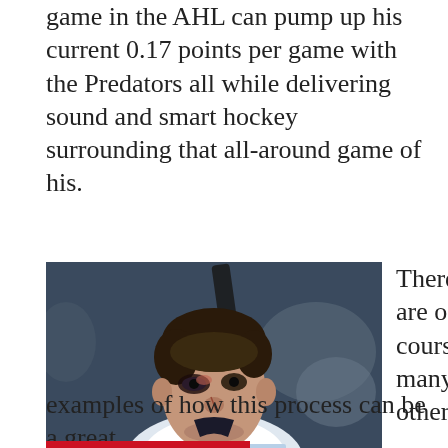game in the AHL can pump up his current 0.17 points per game with the Predators all while delivering sound and smart hockey surrounding that all-around game of his.
[Figure (photo): Close-up photo of a hockey player in a white and light blue jersey, looking forward with a serious expression, arena crowd blurred in background.]
(Photo Credit: Scott Paulus)
There are of course many other
examples of how this process can be a great